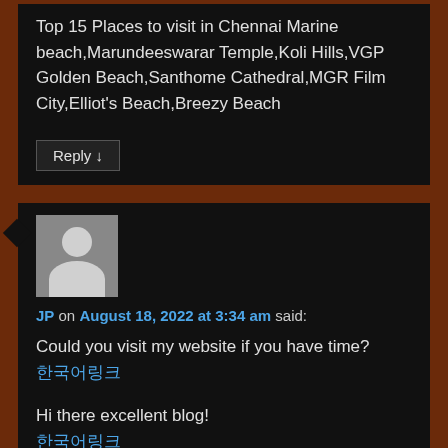Top 15 Places to visit in Chennai Marine beach,Marundeeswarar Temple,Koli Hills,VGP Golden Beach,Santhome Cathedral,MGR Film City,Elliot's Beach,Breezy Beach
Reply ↓
[Figure (illustration): Default user avatar grey placeholder with silhouette of person]
JP on August 18, 2022 at 3:34 am said:
Could you visit my website if you have time?
한국어링크
Hi there excellent blog!
한국어링크
Reply ↓